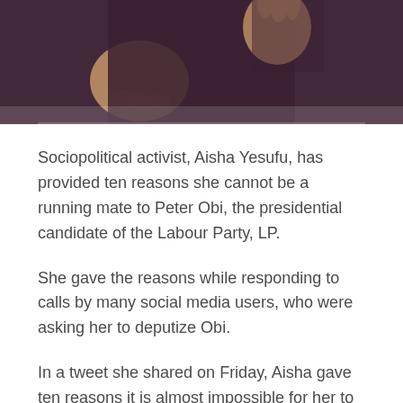[Figure (photo): Photo of a person wearing a dark maroon/purple outfit with hands visible, standing against a brick wall background. Only the torso and hands are visible, cropped.]
Sociopolitical activist, Aisha Yesufu, has provided ten reasons she cannot be a running mate to Peter Obi, the presidential candidate of the Labour Party, LP.
She gave the reasons while responding to calls by many social media users, who were asking her to deputize Obi.
In a tweet she shared on Friday, Aisha gave ten reasons it is almost impossible for her to join Obi's presidential race.